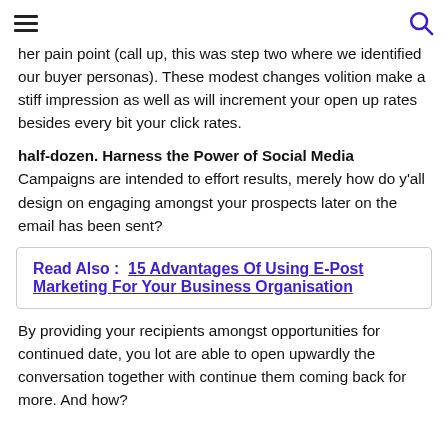[hamburger menu] [search icon]
her pain point (call up, this was step two where we identified our buyer personas). These modest changes volition make a stiff impression as well as will increment your open up rates besides every bit your click rates.
half-dozen. Harness the Power of Social Media
Campaigns are intended to effort results, merely how do y'all design on engaging amongst your prospects later on the email has been sent?
Read Also :  15 Advantages Of Using E-Post Marketing For Your Business Organisation
By providing your recipients amongst opportunities for continued date, you lot are able to open upwardly the conversation together with continue them coming back for more. And how?